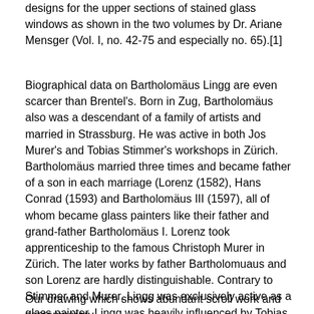designs for the upper sections of stained glass windows as shown in the two volumes by Dr. Ariane Mensger (Vol. I, no. 42-75 and especially no. 65).[1]
Biographical data on Bartholomäus Lingg are even scarcer than Brentel's. Born in Zug, Bartholomäus also was a descendant of a family of artists and married in Strassburg. He was active in both Jos Murer's and Tobias Stimmer's workshops in Zürich. Bartholomäus married three times and became father of a son in each marriage (Lorenz (1582), Hans Conrad (1593) and Bartholomäus III (1597), all of whom became glass painters like their father and grand-father Bartholomäus I. Lorenz took apprenticeship to the famous Christoph Murer in Zürich. The later works by father Bartholomuaus and son Lorenz are hardly distinguishable. Contrary to Stimmer and Murer, Lingg was exclusively active as a glass painter. Lingg was heavily influenced by Tobias Stimmer, as well as by Daniel Lindtmayer and Josias and Christoph Murer.
Our drawing which shows abundant scroll work and contemporary